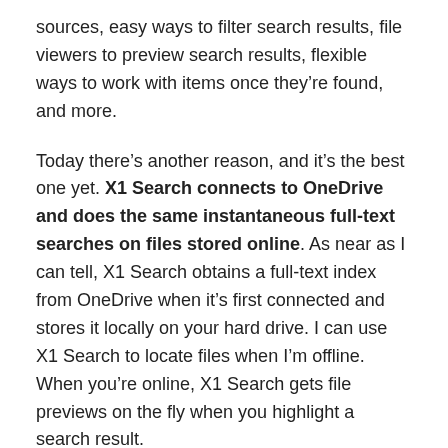sources, easy ways to filter search results, file viewers to preview search results, flexible ways to work with items once they're found, and more.
Today there's another reason, and it's the best one yet. X1 Search connects to OneDrive and does the same instantaneous full-text searches on files stored online. As near as I can tell, X1 Search obtains a full-text index from OneDrive when it's first connected and stores it locally on your hard drive. I can use X1 Search to locate files when I'm offline. When you're online, X1 Search gets file previews on the fly when you highlight a search result.
That's exactly what Microsoft promised but failed to deliver in Windows Search.